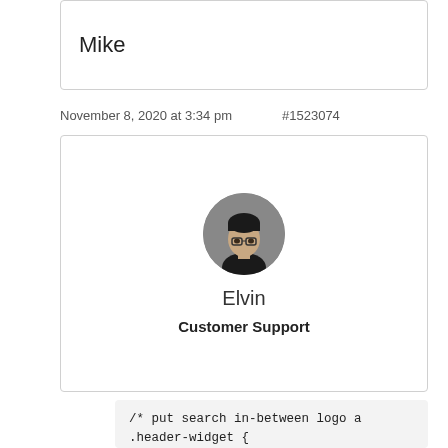Mike
November 8, 2020 at 3:34 pm    #1523074
[Figure (photo): Circular avatar photo of a person wearing glasses, dark hair, against a grey background. Name below: Elvin.]
Elvin
Customer Support
/* put search in-between logo a
.header-widget {
     order: 1;
}
/* Reduce bottom margin, add to